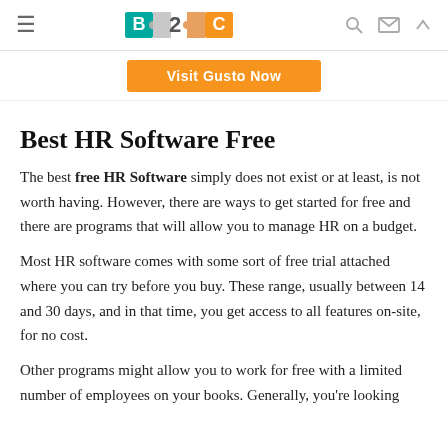B2C logo navigation header with hamburger menu, search, mail, and up arrow icons
[Figure (other): Orange 'Visit Gusto Now' button]
Best HR Software Free
The best free HR Software simply does not exist or at least, is not worth having. However, there are ways to get started for free and there are programs that will allow you to manage HR on a budget.
Most HR software comes with some sort of free trial attached where you can try before you buy. These range, usually between 14 and 30 days, and in that time, you get access to all features on-site, for no cost.
Other programs might allow you to work for free with a limited number of employees on your books. Generally, you're looking